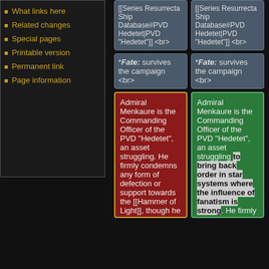What links here
Related changes
Special pages
Printable version
Permanent link
Page information
[[Series Resurrecta Ship Database#PVD Hedetet|PVD "Hedetet"]] <br>
[[Series Resurrecta Ship Database#PVD Hedetet|PVD "Hedetet"]] <br>
*''Fate:'' survives the campaign <br>
*''Fate:'' survives the campaign <br>
Admiral Menkaure is the Commanding Officer of the PVD "Hedetet", an asset struggling. He firmly condemns any form of defection or support towards the [[Hammer of Light]], though he also shows great disappointment when such defections occur, and perceives them as a treason towards all Vasudan
Admiral Menkaure is the Commanding Officer of the PVD "Hedetet", an asset struggling to bring back order in star systems where the influence of fanatism is strong. He firmly condemns any form of defection or support towards the [[Hammer of Light]], though he also shows great disappointment